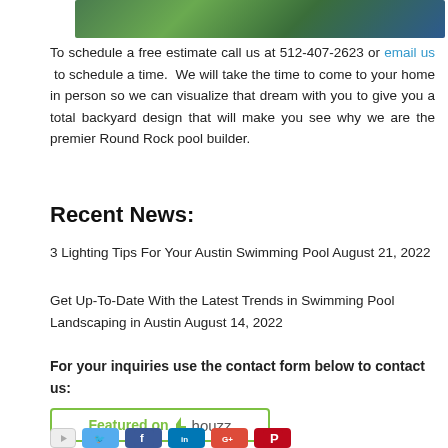[Figure (photo): Partial view of a backyard pool area with greenery, decorative rocks, and blue water visible at the top of the page.]
To schedule a free estimate call us at 512-407-2623 or email us to schedule a time. We will take the time to come to your home in person so we can visualize that dream with you to give you a total backyard design that will make you see why we are the premier Round Rock pool builder.
Recent News:
3 Lighting Tips For Your Austin Swimming Pool August 21, 2022
Get Up-To-Date With the Latest Trends in Swimming Pool Landscaping in Austin August 14, 2022
For your inquiries use the contact form below to contact us:
[Figure (logo): Featured on Houzz badge with green border, green text and houzz logo]
[Figure (logo): Row of social media icons: YouTube, Twitter, Facebook, LinkedIn, Google+, Pinterest]